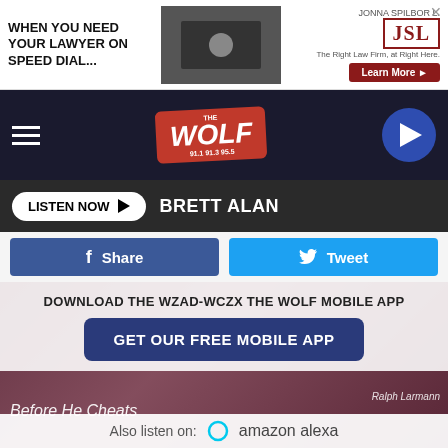[Figure (screenshot): Advertisement banner: 'When you need your lawyer on speed dial...' with JSL Jonna Spilbor Law logo and Learn More button]
[Figure (screenshot): The Wolf radio station navigation bar with hamburger menu, The Wolf 91.1 91.3 95.5 logo, and play button]
LISTEN NOW ▶  BRETT ALAN
[Figure (screenshot): Facebook Share and Twitter Tweet social sharing buttons]
DOWNLOAD THE WZAD-WCZX THE WOLF MOBILE APP
GET OUR FREE MOBILE APP
Ralph Larmann
Before He Cheats
Also listen on:  amazon alexa
[Figure (screenshot): Bottom advertisement: Where Community Comforts - Hospice of Orange & Sullivan]